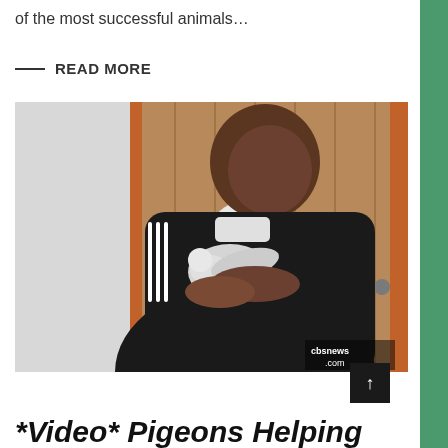of the most successful animals…
— READ MORE
[Figure (photo): A man in a black tracksuit holding a white pigeon/dove near a wooden structure, with a CBS News watermark in the lower right corner.]
*Video* Pigeons Helping